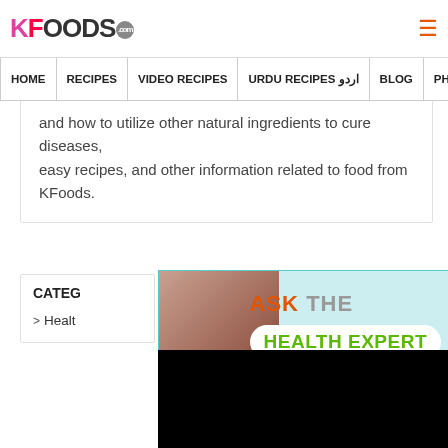KFOODS.com — navigation: HOME | RECIPES | VIDEO RECIPES | URDU RECIPES اردو | BLOG | PHOTO
and how to utilize other natural ingredients to cure diseases, easy recipes, and other information related to food from KFoods.
[Figure (photo): Ask The Health Expert banner showing a woman and a video player overlay with play button. Badge showing 2640.]
CATEG
> Healt